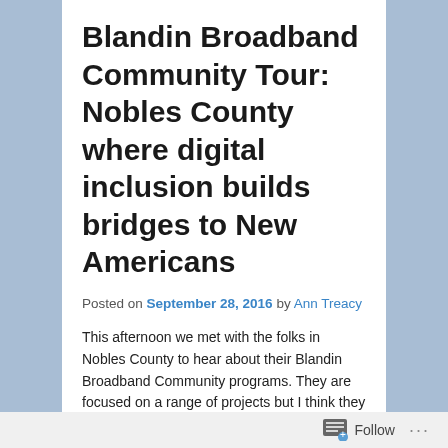Blandin Broadband Community Tour: Nobles County where digital inclusion builds bridges to New Americans
Posted on September 28, 2016 by Ann Treacy
This afternoon we met with the folks in Nobles County to hear about their Blandin Broadband Community programs. They are focused on a range of projects but I think they have done an especially good job with
Follow